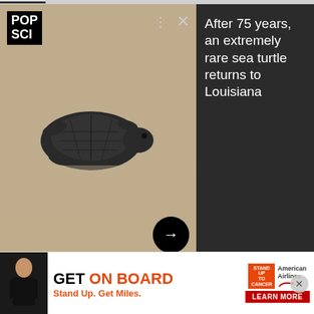[Figure (screenshot): Mobile app notification card showing a baby sea turtle on sand, with POP SCI logo, dismiss (×) and options (⋮) icons, and a right-arrow navigation button. Dark panel on the right shows headline text.]
After 75 years, an extremely rare sea turtle returns to Louisiana
went online, it's found one.
[Figure (photo): Close-up photograph of a small dark baby sea turtle crawling across pale sandy beach.]
[Figure (screenshot): Advertisement banner: GET ON BOARD – Stand Up. Get Miles. Stand Up To Cancer | American Airlines. LEARN MORE button.]